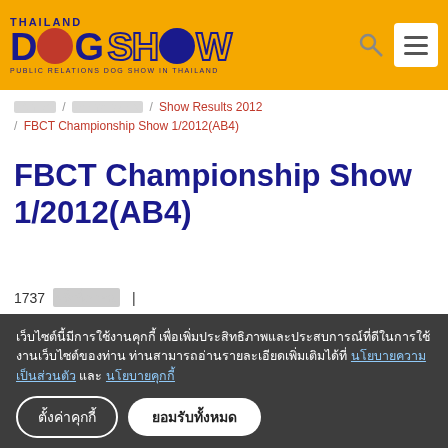[Figure (logo): Thailand Dog Show logo on orange header bar with search and menu icons]
หน้าหลัก / ผลการประกวด / Show Results 2012 / FBCT Championship Show 1/2012(AB4)
FBCT Championship Show 1/2012(AB4)
1737 ครั้งที่เข้าชม |
[Figure (infographic): Social share buttons: Facebook, Twitter, Pinterest, Line]
เว็บไซต์นี้มีการใช้งานคุกกี้ เพื่อเพิ่มประสิทธิภาพและประสบการณ์ที่ดีในการใช้งานเว็บไซต์ของท่าน ท่านสามารถอ่านรายละเอียดเพิ่มเติมได้ที่ นโยบายความเป็นส่วนตัว และ นโยบายคุกกี้
ตั้งค่าคุกกี้  ยอมรับทั้งหมด